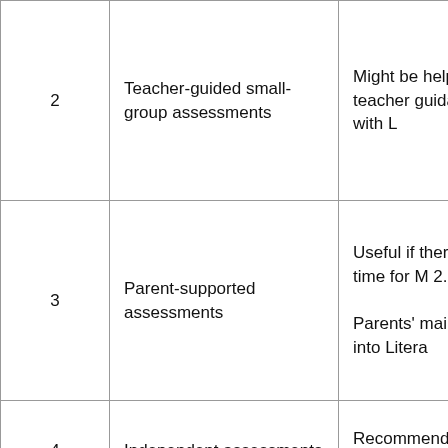| # | Type | Description |
| --- | --- | --- |
| 2 | Teacher-guided small-group assessments | Might be helpful if stud some teacher guidanc prior experience with L |
| 3 | Parent-supported assessments | Useful if there is not e instructional time for M 2.

Parents' main role is t students log into Litera |
| 4 | Independent assessments | Recommended for older/experienced stuc |